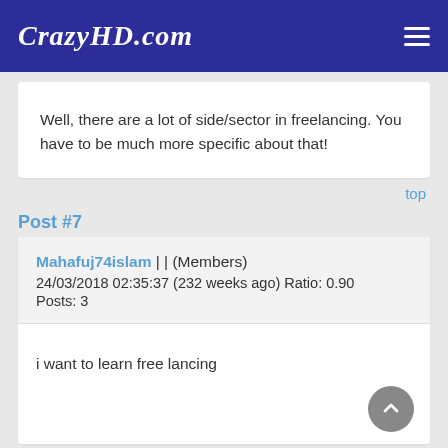CrazyHD.com
Well, there are a lot of side/sector in freelancing. You have to be much more specific about that!
top
Post #7
Mahafuj74islam | | (Members)
24/03/2018 02:35:37 (232 weeks ago) Ratio: 0.90
Posts: 3
i want to learn free lancing
top